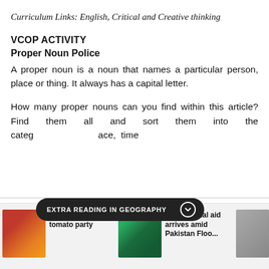Curriculum Links: English, Critical and Creative thinking
VCOP ACTIVITY
Proper Noun Police
A proper noun is a noun that names a particular person, place or thing. It always has a capital letter.
How many proper nouns can you find within this article? Find them all and sort them into the categ...ace, time
EXTRA READING IN GEOGRAPHY
[Figure (photo): Bottom strip showing article thumbnails: tomato festival photo with headline 'Frenzy at Spanish tomato party', helicopter/flood photo with headline 'International aid arrives amid Pakistan...', and a third partial photo]
Frenzy at Spanish tomato party
International aid arrives amid Pakistan...